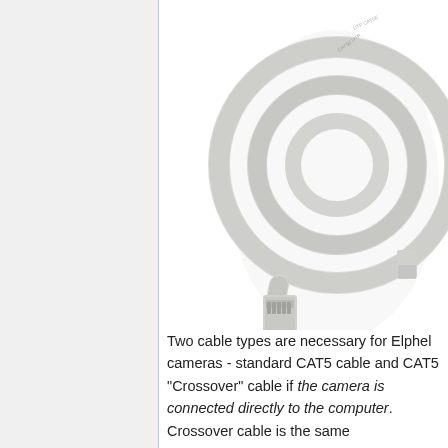[Figure (photo): A coiled gray CAT5 network cable with an RJ45 connector visible at the bottom, photographed on a white background.]
Two cable types are necessary for Elphel cameras - standard CAT5 cable and CAT5 "Crossover" cable if the camera is connected directly to the computer. Crossover cable is the same